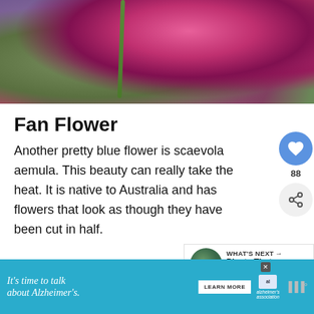[Figure (photo): Close-up photo of pink/magenta flowers (likely bee balm or similar) with green stems against a blurred background]
Fan Flower
Another pretty blue flower is scaevola aemula. This beauty can really take the heat. It is native to Australia and has flowers that look as though they have been cut in half.
[Figure (other): What's Next thumbnail showing purple flowers with text 'Plants That Don't Need...']
[Figure (other): Advertisement banner: It's time to talk about Alzheimer's. with Alzheimer's Association logo and Learn More button]